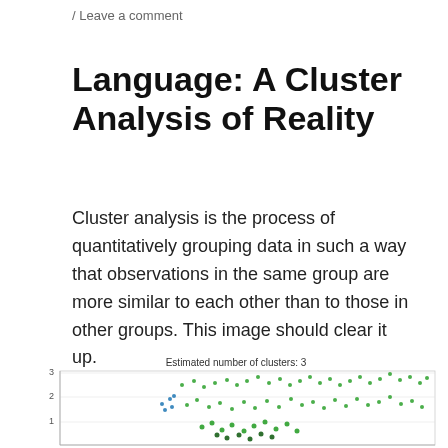/ Leave a comment
Language: A Cluster Analysis of Reality
Cluster analysis is the process of quantitatively grouping data in such a way that observations in the same group are more similar to each other than to those in other groups. This image should clear it up.
[Figure (scatter-plot): Scatter plot titled 'Estimated number of clusters: 3' showing three clusters of data points in different colors (green dominant, with some blue points) distributed across x and y axes. Y-axis shows values 1, 2, 3. The clusters show groupings of many dots with the majority colored green.]